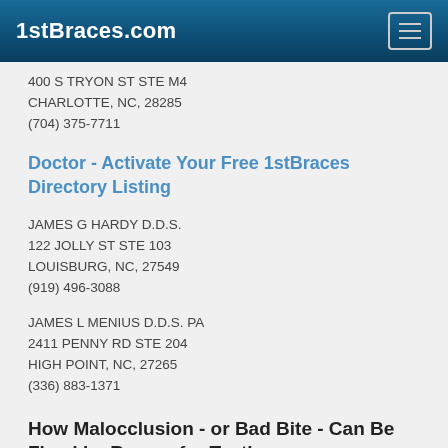1stBraces.com
400 S TRYON ST STE M4
CHARLOTTE, NC, 28285
(704) 375-7711
Doctor - Activate Your Free 1stBraces Directory Listing
JAMES G HARDY D.D.S.
122 JOLLY ST STE 103
LOUISBURG, NC, 27549
(919) 496-3088
JAMES L MENIUS D.D.S. PA
2411 PENNY RD STE 204
HIGH POINT, NC, 27265
(336) 883-1371
How Malocclusion - or Bad Bite - Can Be Fixed by Braces for Teeth